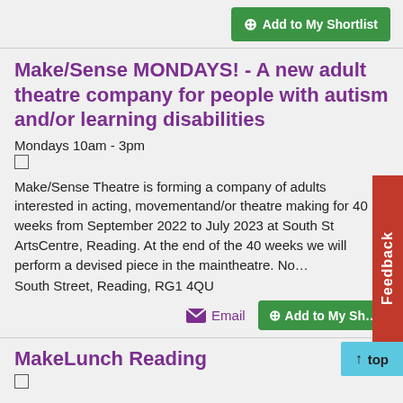Add to My Shortlist
Make/Sense MONDAYS! - A new adult theatre company for people with autism and/or learning disabilities
Mondays 10am - 3pm
Make/Sense Theatre is forming a company of adults interested in acting, movementand/or theatre making for 40 weeks from September 2022 to July 2023 at South St ArtsCentre, Reading. At the end of the 40 weeks we will perform a devised piece in the maintheatre. No…
South Street, Reading, RG1 4QU
Email
Add to My Sh…
MakeLunch Reading
A lunchclub for families, providing fun activities, crafts a… hot meal for families who need it during the school holid…